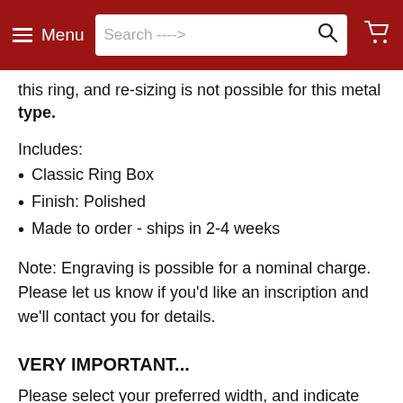Menu  Search ---->  [search icon]  [cart icon]
this ring, and re-sizing is not possible for this metal type.
Includes:
Classic Ring Box
Finish: Polished
Made to order - ships in 2-4 weeks
Note: Engraving is possible for a nominal charge. Please let us know if you'd like an inscription and we'll contact you for details.
VERY IMPORTANT...
Please select your preferred width, and indicate your current measured size in the notes/instructions to us during checkout. Don't